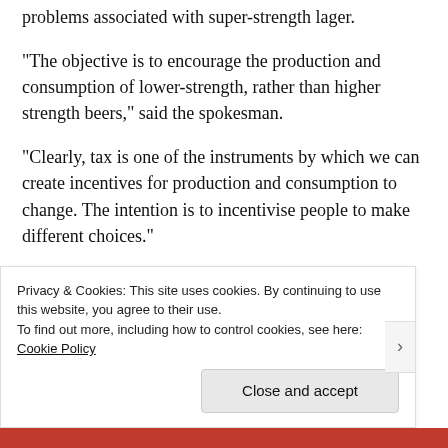problems associated with super-strength lager.
“The objective is to encourage the production and consumption of lower-strength, rather than higher strength beers,” said the spokesman.
“Clearly, tax is one of the instruments by which we can create incentives for production and consumption to change. The intention is to incentivise people to make different choices.”
Share:
Privacy & Cookies: This site uses cookies. By continuing to use this website, you agree to their use.
To find out more, including how to control cookies, see here: Cookie Policy